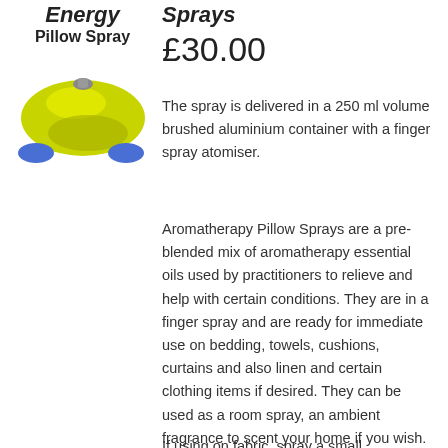Energy Pillow Spray
£30.00
[Figure (photo): Yellow/green coloured aromatherapy pillow spray bottle with blue base on white background]
The spray is delivered in a 250 ml volume brushed aluminium container with a finger spray atomiser.
Aromatherapy Pillow Sprays are a pre-blended mix of aromatherapy essential oils used by practitioners to relieve and help with certain conditions. They are in a finger spray and are ready for immediate use on bedding, towels, cushions, curtains and also linen and certain clothing items if desired. They can be used as a room spray, an ambient fragrance to scent your home if you wish.
If using on fabric, spray a small unobtrusive